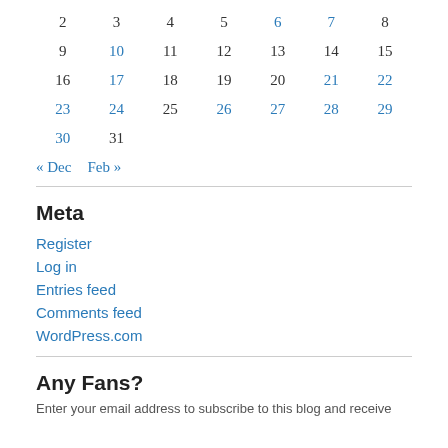| 2 | 3 | 4 | 5 | 6 | 7 | 8 |
| 9 | 10 | 11 | 12 | 13 | 14 | 15 |
| 16 | 17 | 18 | 19 | 20 | 21 | 22 |
| 23 | 24 | 25 | 26 | 27 | 28 | 29 |
| 30 | 31 |  |  |  |  |  |
« Dec   Feb »
Meta
Register
Log in
Entries feed
Comments feed
WordPress.com
Any Fans?
Enter your email address to subscribe to this blog and receive